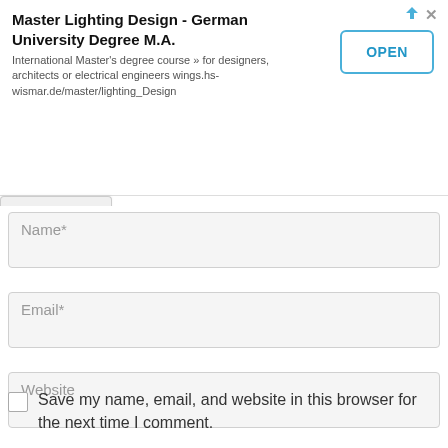[Figure (screenshot): Advertisement banner for Master Lighting Design - German University Degree M.A. with an OPEN button]
Name*
Email*
Website
Save my name, email, and website in this browser for the next time I comment.